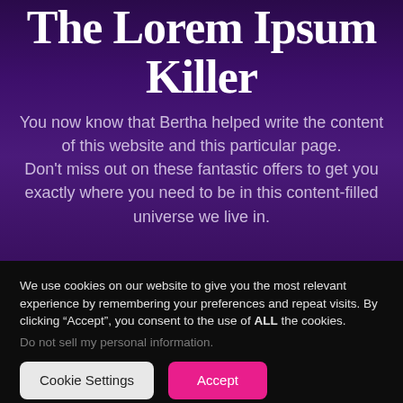The Lorem Ipsum Killer
You now know that Bertha helped write the content of this website and this particular page. Don't miss out on these fantastic offers to get you exactly where you need to be in this content-filled universe we live in.
We use cookies on our website to give you the most relevant experience by remembering your preferences and repeat visits. By clicking “Accept”, you consent to the use of ALL the cookies.
Do not sell my personal information.
Cookie Settings | Accept